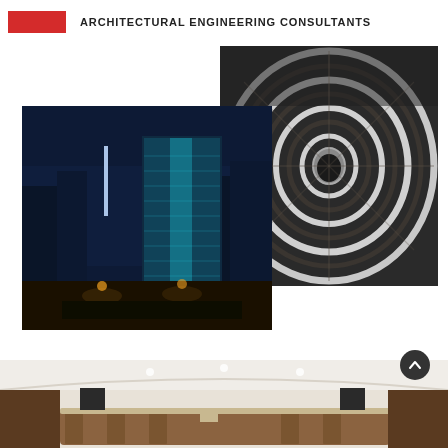ARCHITECTURAL ENGINEERING CONSULTANTS
[Figure (photo): Spiral architectural interior viewed from below, showing concentric rings of white structural elements with a dark oval opening at center]
[Figure (photo): Night exterior photo of a modern glass high-rise building with cyan/teal illumination, city skyline in background]
[Figure (photo): Interior photo of a curved reception desk area with wood paneling and white ceiling]
[Figure (other): Scroll-to-top circular button]